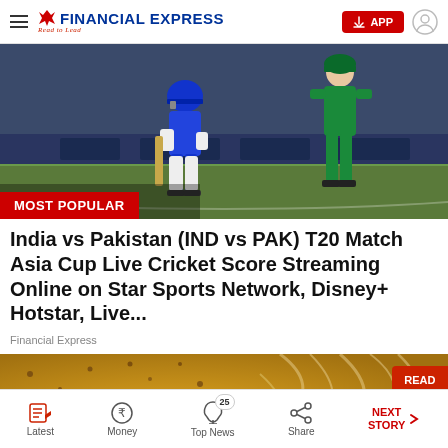Financial Express — Read to Lead
[Figure (photo): Cricket match photo showing an Indian batsman in blue kit and a Pakistani player in green kit on a cricket field, with 'MOST POPULAR' badge overlay]
India vs Pakistan (IND vs PAK) T20 Match Asia Cup Live Cricket Score Streaming Online on Star Sports Network, Disney+ Hotstar, Live...
Financial Express
[Figure (photo): Close-up photo of a textured golden-brown surface (possibly food like dosa or bread) with dark speckles, with 'READ IN APP' badge]
Latest | Money | Top News (25) | Share | NEXT STORY